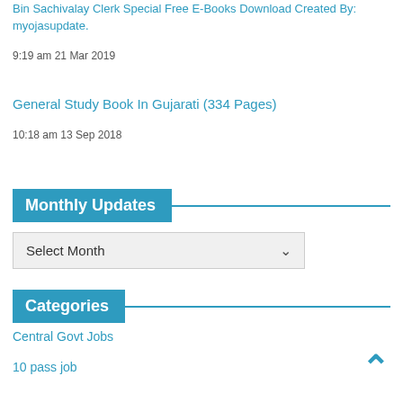Bin Sachivalay Clerk Special Free E-Books Download Created By: myojasupdate.
9:19 am 21 Mar 2019
General Study Book In Gujarati (334 Pages)
10:18 am 13 Sep 2018
Monthly Updates
Select Month
Categories
Central Govt Jobs
10 pass job